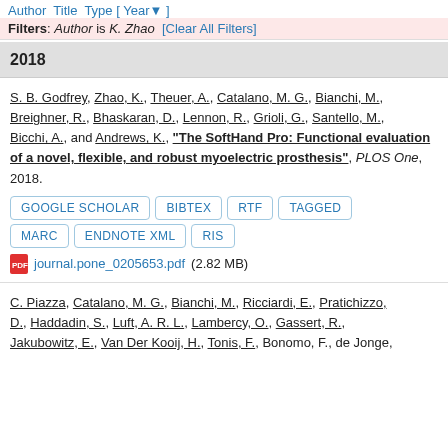Author Title Type [ Year ] Filters: Author is K. Zhao [Clear All Filters]
2018
S. B. Godfrey, Zhao, K., Theuer, A., Catalano, M. G., Bianchi, M., Breighner, R., Bhaskaran, D., Lennon, R., Grioli, G., Santello, M., Bicchi, A., and Andrews, K., "The SoftHand Pro: Functional evaluation of a novel, flexible, and robust myoelectric prosthesis", PLOS One, 2018.
GOOGLE SCHOLAR
BIBTEX
RTF
TAGGED
MARC
ENDNOTE XML
RIS
journal.pone_0205653.pdf (2.82 MB)
C. Piazza, Catalano, M. G., Bianchi, M., Ricciardi, E., Pratichizzo, D., Haddadin, S., Luft, A. R. L., Lambercy, O., Gassert, R., Jakubowitz, E., Van Der Kooij, H., Tonis, F., Bonomo, F., de Jonge,